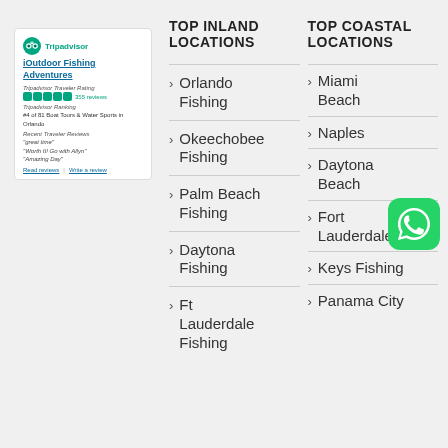[Figure (screenshot): TripAdvisor widget card showing iOutdoor Fishing Adventures with 5-star rating, 355 reviews, ranked #4 of 81 Boat Tours & Water Sports in Orlando, with recent traveler reviews and links.]
TOP INLAND LOCATIONS
Orlando Fishing
Okeechobee Fishing
Palm Beach Fishing
Daytona Fishing
Ft Lauderdale Fishing
TOP COASTAL LOCATIONS
Miami Beach
Naples
Daytona Beach
Fort Lauderdale
Keys Fishing
Panama City
[Figure (logo): WhatsApp green logo icon]